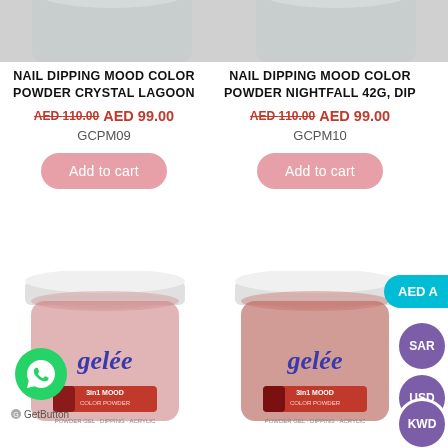[Figure (photo): Cropped top portion of two nail dipping powder jar products, left and right columns]
NAIL DIPPING MOOD COLOR POWDER CRYSTAL LAGOON
AED 110.00 AED 99.00
GCPM09
Add to cart
NAIL DIPPING MOOD COLOR POWDER NIGHTFALL 42G, DIP
AED 110.00 AED 99.00
GCPM10
Add to cart
[Figure (photo): Two Gelee 3in1 Mood Color Powder jars, pink/red color, shown side by side in bottom half of page]
AED A
SAR
USD
KWD
[Figure (logo): WhatsApp green circular button with WhatsApp icon]
GetButton